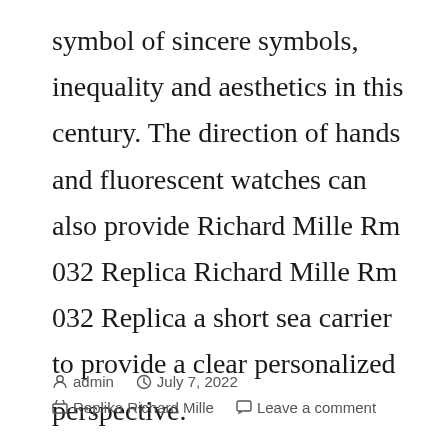symbol of sincere symbols, inequality and aesthetics in this century. The direction of hands and fluorescent watches can also provide Richard Mille Rm 032 Replica Richard Mille Rm 032 Replica a short sea carrier to provide a clear personalized perspective.
admin   July 7, 2022   Replika Richard Mille   Leave a comment